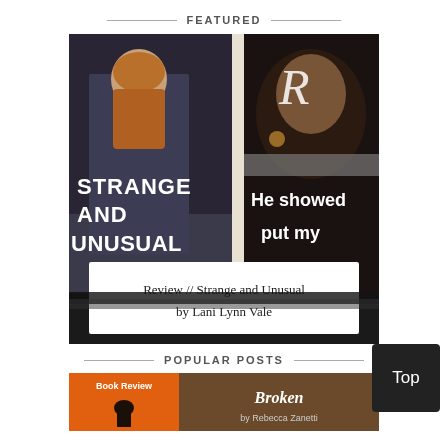FEATURED
[Figure (photo): Featured book review image showing the cover of 'Strange and Unusual' by Lani Lynn Vale with a bearded man, split with a close-up photo of a bearded man's face in dark tones, with text overlay 'He showed' and 'put my' and a script letter 'R'. White box overlay at bottom reads 'Review // Strange and Unusual by Lani Lynn Vale'.]
POPULAR POSTS
[Figure (photo): Book review thumbnail showing 'Book Review' label with orange background featuring a silhouette, and title 'Broken by Rebecca Zanetti']